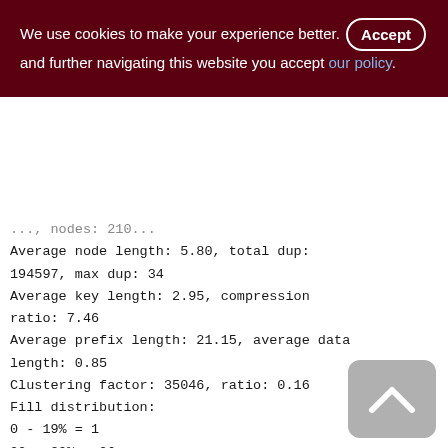We use cookies to make your experience better. By accepting and further navigating this website you accept our policy.
..., nodes: 210...
Average node length: 5.80, total dup: 194597, max dup: 34
Average key length: 2.95, compression ratio: 7.46
Average prefix length: 21.15, average data length: 0.85
Clustering factor: 35046, ratio: 0.16
Fill distribution:
0 - 19% = 1
20 - 39% = 26
40 - 59% = 115
60 - 79% = 79